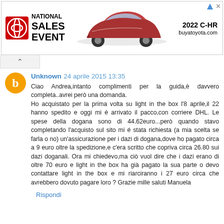[Figure (other): Toyota National Sales Event advertisement banner featuring a red 2022 C-HR SUV, Toyota logo, text 'NATIONAL SALES EVENT', '2022 C-HR', and 'buyatoyota.com']
Unknown 24 aprile 2015 13:35
Ciao Andrea,intanto complimenti per la guida,è davvero completa..avrei però una domanda.
Ho acquistato per la prima volta su light in the box l'8 aprile,il 22 hanno spedito e oggi mi é arrivato il pacco,con corriere DHL. Le spese della dogana sono di 44.62euro...però quando stavo completando l'acquisto sul sito mi é stata richiesta (a mia scelta se farla o no) un'assicurazione per i dazi di dogana,dove ho pagato circa a 9 euro oltre la spedizione,e c'era scritto che copriva circa 26.80 sui dazi doganali. Ora mi chiedevo,ma ciò vuol dire che i dazi erano di oltre 70 euro e light in the box ha già pagato la sua parte o devo contattare light in the box e mi riarciranno i 27 euro circa che avrebbero dovuto pagare loro ? Grazie mille saluti Manuela
Rispondi